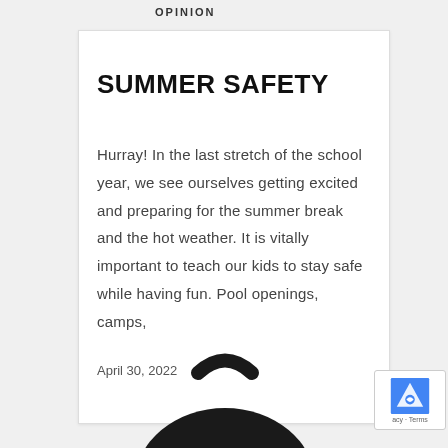OPINION
SUMMER SAFETY
Hurray! In the last stretch of the school year, we see ourselves getting excited and preparing for the summer break and the hot weather. It is vitally important to teach our kids to stay safe while having fun. Pool openings, camps,
April 30, 2022
[Figure (photo): Partial view of a dark-colored backpack or bag, showing the handle/strap at the top, photographed from above against a white background.]